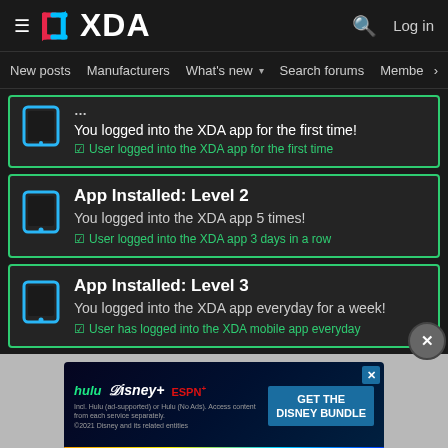XDA - Log in
New posts | Manufacturers | What's new | Search forums | Members | >
You logged into the XDA app for the first time! ☑ User logged into the XDA app for the first time
App Installed: Level 2
You logged into the XDA app 5 times! ☑ User logged into the XDA app 3 days in a row
App Installed: Level 3
You logged into the XDA app everyday for a week! ☑ User has logged into the XDA mobile app everyday
[Figure (screenshot): Disney Bundle advertisement banner showing Hulu, Disney+, and ESPN+ logos with 'GET THE DISNEY BUNDLE' call to action]